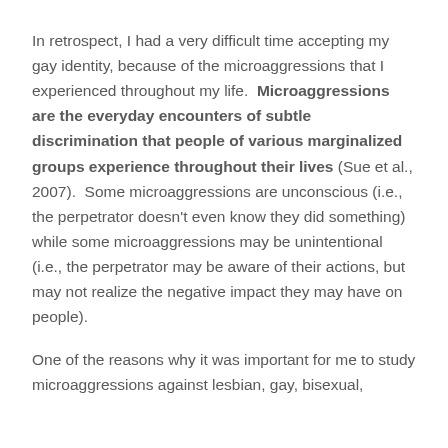In retrospect, I had a very difficult time accepting my gay identity, because of the microaggressions that I experienced throughout my life. Microaggressions are the everyday encounters of subtle discrimination that people of various marginalized groups experience throughout their lives (Sue et al., 2007). Some microaggressions are unconscious (i.e., the perpetrator doesn't even know they did something) while some microaggressions may be unintentional (i.e., the perpetrator may be aware of their actions, but may not realize the negative impact they may have on people).
One of the reasons why it was important for me to study microaggressions against lesbian, gay, bisexual, transgender, and queer/questioning (LGBTQ) people